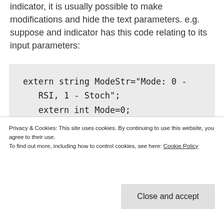indicator, it is usually possible to make modifications and hide the text parameters. e.g. suppose and indicator has this code relating to its input parameters:
Privacy & Cookies: This site uses cookies. By continuing to use this website, you agree to their use. To find out more, including how to control cookies, see here: Cookie Policy
like the list below, but the first parameter is a string of